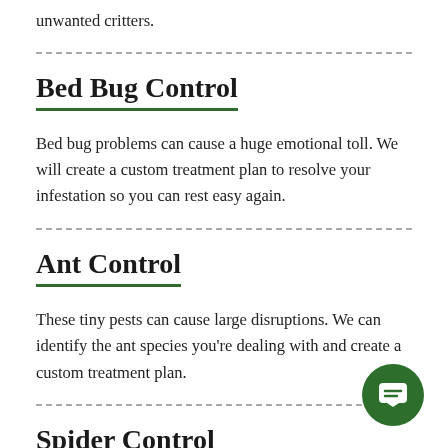unwanted critters.
Bed Bug Control
Bed bug problems can cause a huge emotional toll. We will create a custom treatment plan to resolve your infestation so you can rest easy again.
Ant Control
These tiny pests can cause large disruptions. We can identify the ant species you're dealing with and create a custom treatment plan.
Spider Control
Seeing a spider is enough to send a shiver down your